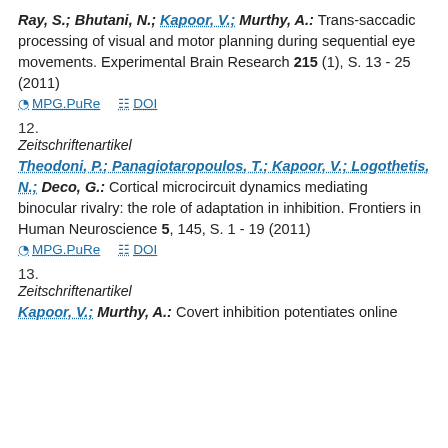Ray, S.; Bhutani, N.; Kapoor, V.; Murthy, A.: Trans-saccadic processing of visual and motor planning during sequential eye movements. Experimental Brain Research 215 (1), S. 13 - 25 (2011)
MPG.PuRe   DOI
12.
Zeitschriftenartikel
Theodoni, P.; Panagiotaropoulos, T.; Kapoor, V.; Logothetis, N.; Deco, G.: Cortical microcircuit dynamics mediating binocular rivalry: the role of adaptation in inhibition. Frontiers in Human Neuroscience 5, 145, S. 1 - 19 (2011)
MPG.PuRe   DOI
13.
Zeitschriftenartikel
Kapoor, V.; Murthy, A.: Covert inhibition potentiates online...